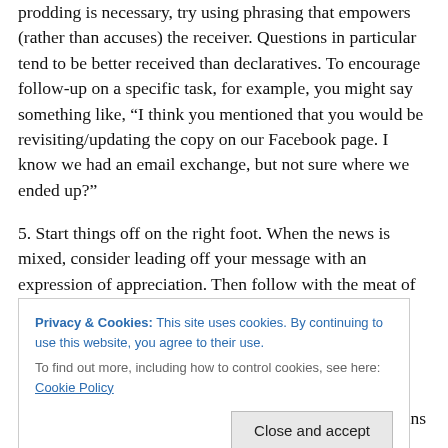prodding is necessary, try using phrasing that empowers (rather than accuses) the receiver. Questions in particular tend to be better received than declaratives. To encourage follow-up on a specific task, for example, you might say something like, “I think you mentioned that you would be revisiting/updating the copy on our Facebook page. I know we had an email exchange, but not sure where we ended up?”
5. Start things off on the right foot. When the news is mixed, consider leading off your message with an expression of appreciation. Then follow with the meat of
Privacy & Cookies: This site uses cookies. By continuing to use this website, you agree to their use.
To find out more, including how to control cookies, see here: Cookie Policy
already done…” prior to bringing the feedback that means